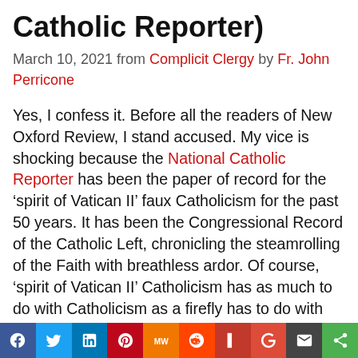Catholic Reporter)
March 10, 2021 from Complicit Clergy by Fr. John Perricone
Yes, I confess it. Before all the readers of New Oxford Review, I stand accused. My vice is shocking because the National Catholic Reporter has been the paper of record for the ‘spirit of Vatican II’ faux Catholicism for the past 50 years. It has been the Congressional Record of the Catholic Left, chronicling the steamrolling of the Faith with breathless ardor. Of course, ‘spirit of Vatican II’ Catholicism has as much to do with Catholicism as a firefly has to do with fire. Resemblances in names are only skin deep. The National Catholic
f | Twitter | in | Pinterest | MW | Reddit | f | g | email | share